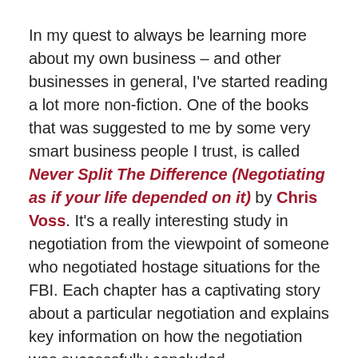In my quest to always be learning more about my own business – and other businesses in general, I've started reading a lot more non-fiction.  One of the books that was suggested to me by some very smart business people I trust, is called Never Split The Difference (Negotiating as if your life depended on it) by Chris Voss.  It's a really interesting study in negotiation from the viewpoint of someone who negotiated hostage situations for the FBI.  Each chapter has a captivating story about a particular negotiation and explains key information on how the negotiation was successfully concluded.
In the second chapter, Mr. Voss says something very insightful (really, the whole book is full of insight) – and as a voice actor, it kind of affirmed what I do every day...